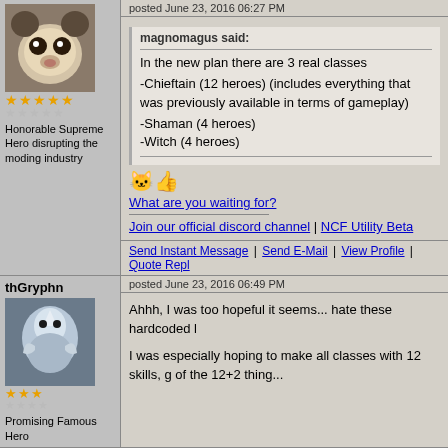posted June 23, 2016 06:27 PM
magnomagus said:
In the new plan there are 3 real classes
-Chieftain (12 heroes) (includes everything that was previously available in terms of gameplay)
-Shaman (4 heroes)
-Witch (4 heroes)
[Figure (illustration): Two emoji icons: surprised face and thumbs up]
What are you waiting for?
Join our official discord channel | NCF Utility Beta
Send Instant Message | Send E-Mail | View Profile | Quote Reply
thGryphn
[Figure (photo): Avatar image of thGryphn showing a bird or griffin figure]
posted June 23, 2016 06:49 PM
Ahhh, I was too hopeful it seems... hate these hardcoded l
I was especially hoping to make all classes with 12 skills, g of the 12+2 thing...